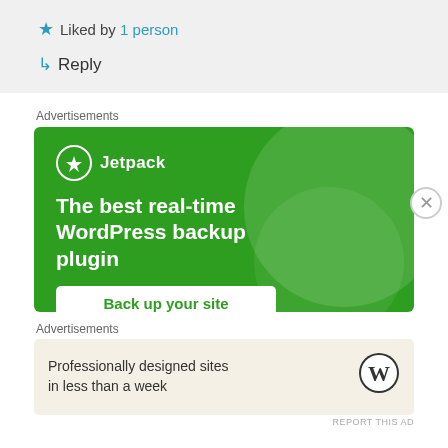Liked by 1 person
Reply
Advertisements
[Figure (illustration): Jetpack WordPress plugin advertisement banner with green background, Jetpack logo, headline 'The best real-time WordPress backup plugin', and 'Back up your site' button]
Advertisements
[Figure (illustration): WordPress advertisement: 'Professionally designed sites in less than a week' with WordPress logo]